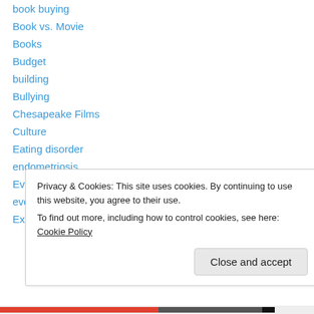book buying
Book vs. Movie
Books
Budget
building
Bullying
Chesapeake Films
Culture
Eating disorder
endometriosis
Events
everyday hero
Exercise
Privacy & Cookies: This site uses cookies. By continuing to use this website, you agree to their use. To find out more, including how to control cookies, see here: Cookie Policy
Close and accept